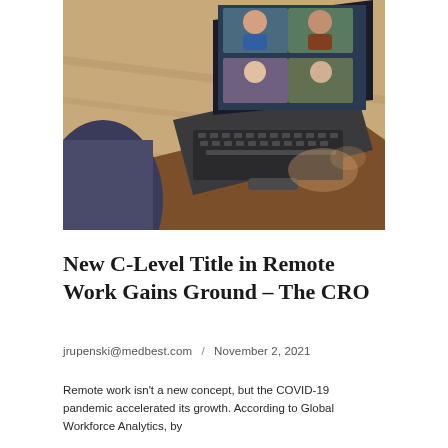[Figure (photo): Overhead view of a person sitting at a wooden desk, typing on a laptop. The laptop screen shows a video conference call with multiple participants. One hand is gesturing near the keyboard.]
New C-Level Title in Remote Work Gains Ground – The CRO
jrupenski@medbest.com   /   November 2, 2021
Remote work isn't a new concept, but the COVID-19 pandemic accelerated its growth. According to Global Workforce Analytics, by